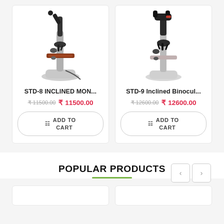[Figure (photo): STD-8 Inclined Monocular Microscope product image on white background]
STD-8 INCLINED MON...
₹11500.00  ₹ 11500.00
ADD TO CART
[Figure (photo): STD-9 Inclined Binocular Microscope product image on white background]
STD-9 Inclined Binocul...
₹12600.00  ₹ 12600.00
ADD TO CART
POPULAR PRODUCTS